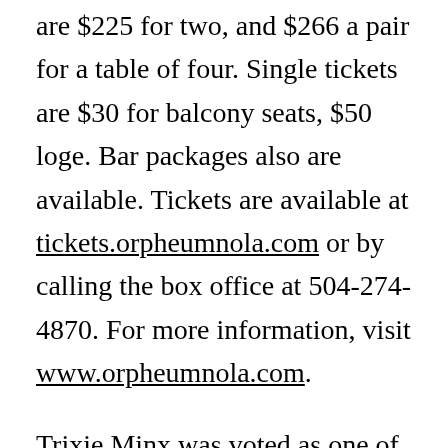are $225 for two, and $266 a pair for a table of four. Single tickets are $30 for balcony seats, $50 loge. Bar packages also are available. Tickets are available at tickets.orpheumnola.com or by calling the box office at 504-274-4870. For more information, visit www.orpheumnola.com.
Trixie Minx was voted as one of the top 10 favorite burlesque performers in New Orleans in my recent 2015 readers poll. Fleur de Tease was among the top five burlesque/circus shows for 2015 in the monthly/seasonal category. She recently performed in “The Burlesque Show” in Atlantic City.